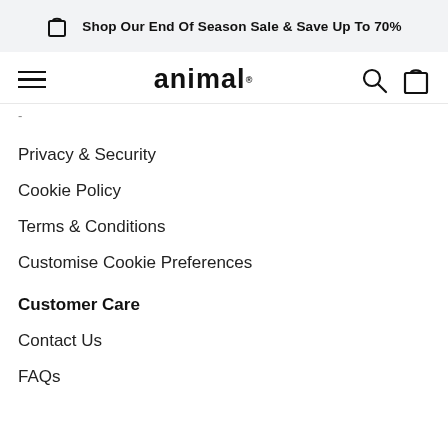Shop Our End Of Season Sale & Save Up To 70%
[Figure (screenshot): Navigation bar with hamburger menu, Animal logo, search icon, and bag icon]
Privacy & Security
Cookie Policy
Terms & Conditions
Customise Cookie Preferences
Customer Care
Contact Us
FAQs